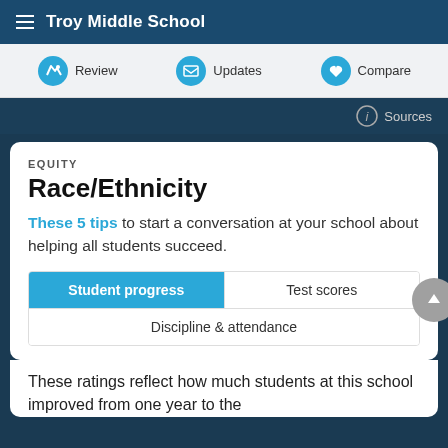Troy Middle School
Review | Updates | Compare
Sources
EQUITY
Race/Ethnicity
These 5 tips to start a conversation at your school about helping all students succeed.
Student progress | Test scores | Discipline & attendance
These ratings reflect how much students at this school improved from one year to the